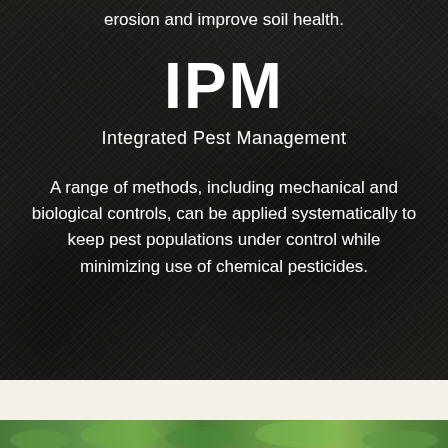erosion and improve soil health.
IPM
Integrated Pest Management
A range of methods, including mechanical and biological controls, can be applied systematically to keep pest populations under control while minimizing use of chemical pesticides.
[Figure (photo): Dark soil/compost texture background photograph, grayscale-toned, showing clumps of dark earth with small plant material visible.]
[Figure (photo): Green plant foliage visible at bottom of page as an image strip.]